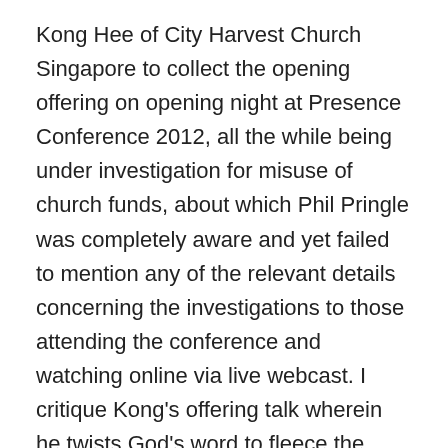Kong Hee of City Harvest Church Singapore to collect the opening offering on opening night at Presence Conference 2012, all the while being under investigation for misuse of church funds, about which Phil Pringle was completely aware and yet failed to mention any of the relevant details concerning the investigations to those attending the conference and watching online via live webcast. I critique Kong's offering talk wherein he twists God's word to fleece the audience.
Instead of getting the facts, the audience was fed a one sided propaganda piece, painting Kong as the victim and Phil Pringle as the hero who swooped in to save the day. As you watch this review, ask yourself: would the audience have been so willing to hand over their money at the conference if they knew that the man encouraging them to